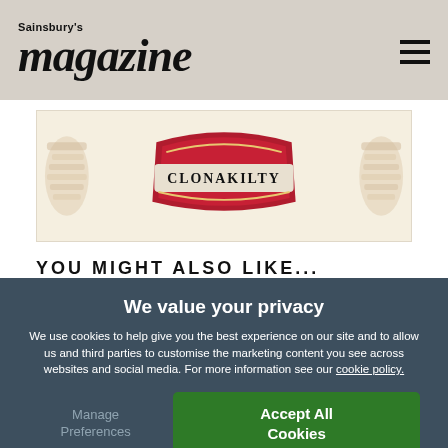Sainsbury's magazine
[Figure (illustration): Clonakilty brand advertisement banner with logo on a cream/beige background with decorative food imagery]
YOU MIGHT ALSO LIKE...
[Figure (photo): Partial view of two article thumbnail images below the 'You might also like' section header]
We value your privacy
We use cookies to help give you the best experience on our site and to allow us and third parties to customise the marketing content you see across websites and social media. For more information see our cookie policy.
Manage Preferences
Accept All Cookies